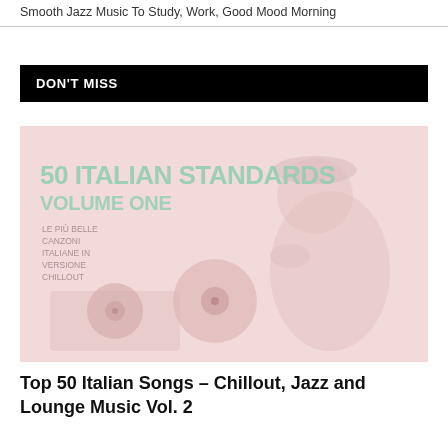Smooth Jazz Music To Study, Work, Good Mood Morning
DON'T MISS
[Figure (photo): Album cover for '50 Italian Standards Volume One' showing a woman listening to a record player, with large text overlay. Faded pink/rose tinted image.]
Top 50 Italian Songs – Chillout, Jazz and Lounge Music Vol. 2